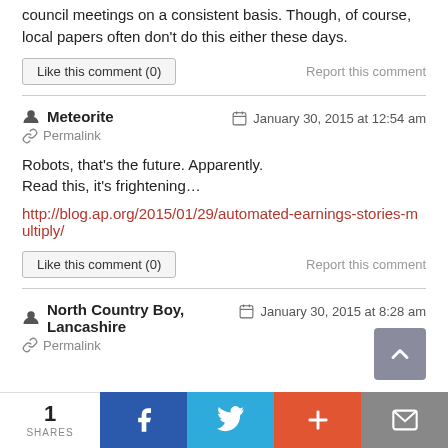council meetings on a consistent basis. Though, of course, local papers often don't do this either these days.
Like this comment (0)   Report this comment
Meteorite   January 30, 2015 at 12:54 am   Permalink
Robots, that's the future. Apparently.
Read this, it's frightening…
http://blog.ap.org/2015/01/29/automated-earnings-stories-multiply/
Like this comment (0)   Report this comment
North Country Boy, Lancashire   January 30, 2015 at 8:28 am   Permalink
1 SHARES